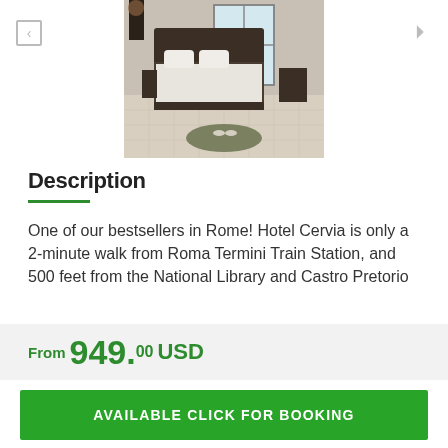[Figure (photo): Hotel room with dark wood bed, white pillows, slippers on a rug, marble floor, window in background]
Description
One of our bestsellers in Rome! Hotel Cervia is only a 2-minute walk from Roma Termini Train Station, and 500 feet from the National Library and Castro Pretorio
From 949.00 USD
AVAILABLE CLICK FOR BOOKING